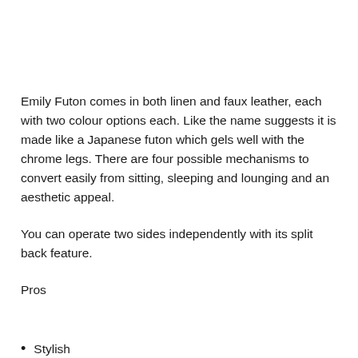Emily Futon comes in both linen and faux leather, each with two colour options each. Like the name suggests it is made like a Japanese futon which gels well with the chrome legs. There are four possible mechanisms to convert easily from sitting, sleeping and lounging and an aesthetic appeal.
You can operate two sides independently with its split back feature.
Pros
Stylish